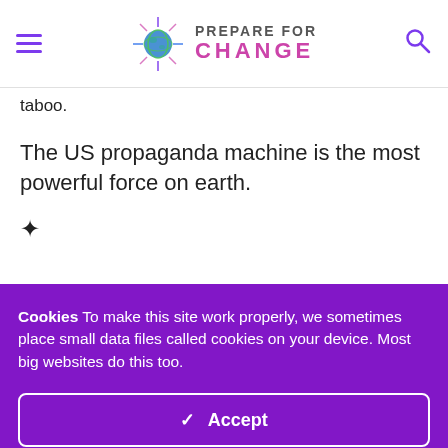Prepare For Change
taboo.
The US propaganda machine is the most powerful force on earth.
✦
Cookies To make this site work properly, we sometimes place small data files called cookies on your device. Most big websites do this too.
✓ Accept
Change Settings ⚙